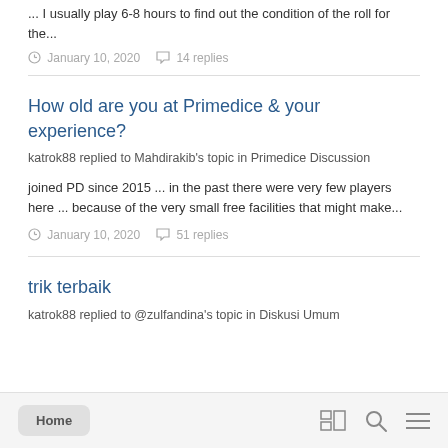... I usually play 6-8 hours to find out the condition of the roll for the...
January 10, 2020   14 replies
How old are you at Primedice & your experience?
katrok88 replied to Mahdirakib's topic in Primedice Discussion
joined PD since 2015 ... in the past there were very few players here ... because of the very small free facilities that might make...
January 10, 2020   51 replies
trik terbaik
katrok88 replied to @zulfandina's topic in Diskusi Umum
Home | [grid icon] [search icon] [menu icon]